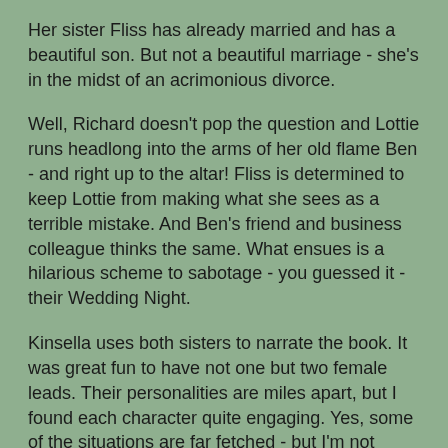Her sister Fliss has already married and has a beautiful son. But not a beautiful marriage - she's in the midst of an acrimonious divorce.
Well, Richard doesn't pop the question and Lottie runs headlong into the arms of her old flame Ben - and right up to the altar! Fliss is determined to keep Lottie from making what she sees as a terrible mistake. And Ben's friend and business colleague thinks the same. What ensues is a hilarious scheme to sabotage - you guessed it - their Wedding Night.
Kinsella uses both sisters to narrate the book. It was great fun to have not one but two female leads. Their personalities are miles apart, but I found each character quite engaging. Yes, some of the situations are far fetched - but I'm not reading for reality - I'm reading for entertainment. And Wedding Night definitely kept me entertained. It was light and funny and I know I had a smile on my face much of the time.  (This would make such a great rom-com movie)
Pick up a copy of Wedding Night for your beach bag this